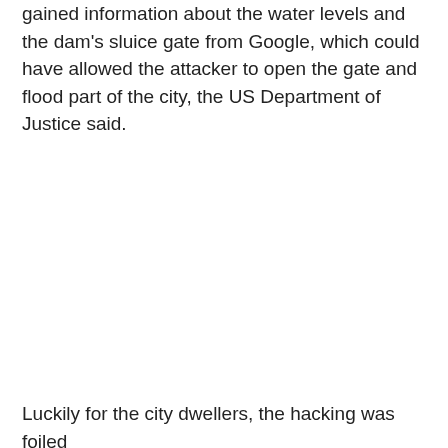gained information about the water levels and the dam's sluice gate from Google, which could have allowed the attacker to open the gate and flood part of the city, the US Department of Justice said.
Luckily for the city dwellers, the hacking was foiled